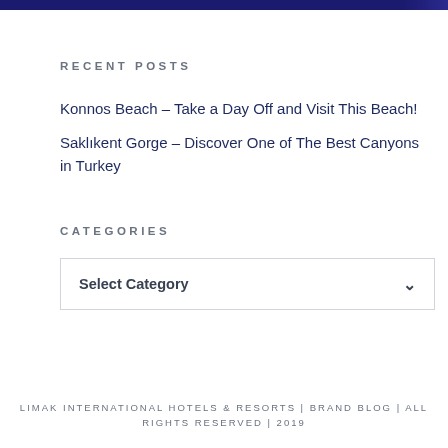RECENT POSTS
Konnos Beach – Take a Day Off and Visit This Beach!
Saklıkent Gorge – Discover One of The Best Canyons in Turkey
CATEGORIES
Select Category
LIMAK INTERNATIONAL HOTELS & RESORTS | BRAND BLOG | ALL RIGHTS RESERVED | 2019